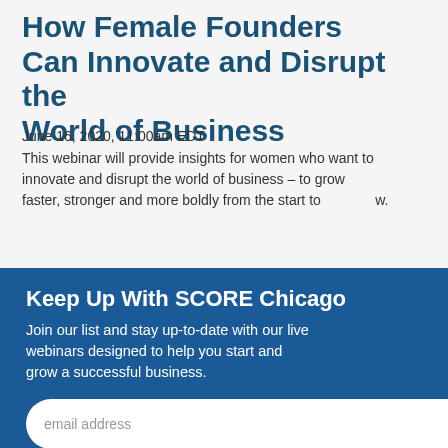How Female Founders Can Innovate and Disrupt the World of Business
June 16, 2020, 11:00am EDT
This webinar will provide insights for women who want to innovate and disrupt the world of business – to grow faster, stronger and more boldly from the start to now.
Keep Up With SCORE Chicago
Join our list and stay up-to-date with our live webinars designed to help you start and grow a successful business.
[Figure (photo): Photo of women in a business/office setting, one woman with glasses smiling in foreground, others working in background against a red wall]
ne a eer >